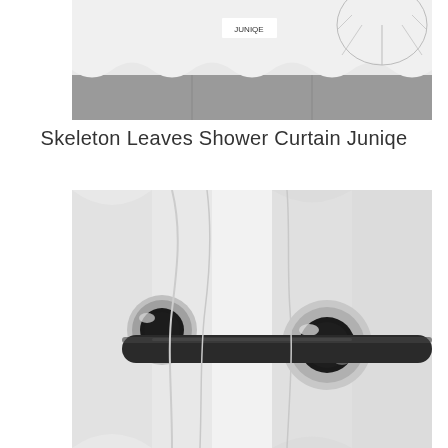[Figure (photo): Top photograph showing a shower curtain with skeleton leaves pattern by Juniqe, displayed in a bathroom setting with a gray tiled floor. A white fabric curtain with organic wavy bottom edge is partially visible along with what appears to be decorative elements.]
Skeleton Leaves Shower Curtain Juniqe
[Figure (photo): Close-up photograph of shower curtain grommets/eyelets on a white fabric curtain. A dark black metal rod passes through silver chrome-ringed grommets. Two grommets are visible in detail, showing the metallic finish and the curtain fabric folds around them.]